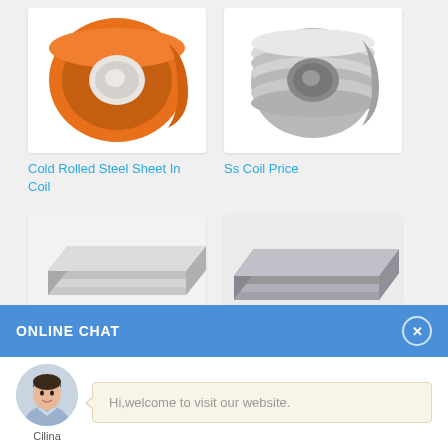[Figure (photo): Orange cold rolled steel coil on white background]
[Figure (photo): Silver stainless steel coil on white background]
Cold Rolled Steel Sheet In Coil
Ss Coil Price
[Figure (photo): Stacked gray steel sheets, partial view]
[Figure (photo): Stacked dark steel sheets, partial view]
ONLINE CHAT
[Figure (photo): Avatar photo of customer service agent named Cilina]
Cilina
Hi,welcome to visit our website.